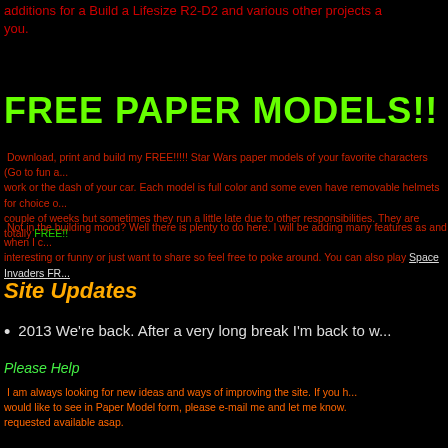additions for a Build a Lifesize R2-D2 and various other projects a... you.
FREE PAPER MODELS!!
Download, print and build my FREE!!!!! Star Wars paper models of your favorite characters (Go to fun a... work or the dash of your car. Each model is full color and some even have removable helmets for choice o... couple of weeks but sometimes they run a little late due to other responsibilities. They are totally FREE!!
Not in the building mood? Well there is plenty to do here. I will be adding many features as and when I c... interesting or funny or just want to share so feel free to poke around. You can also play Space Invaders FR...
Site Updates
2013 We're back. After a very long break I'm back to w...
Please Help
I am always looking for new ideas and ways of improving the site. If you h... would like to see in Paper Model form, please e-mail me and let me know. ... requested available asap.